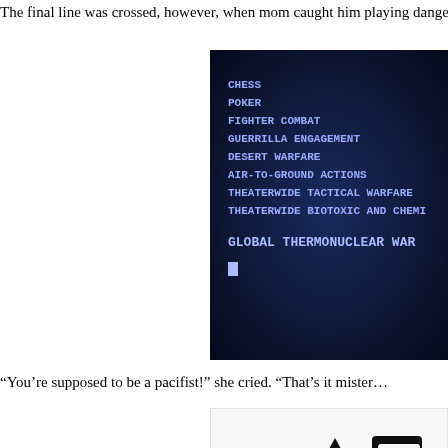The final line was crossed, however, when mom caught him playing dangerous g
[Figure (screenshot): Dark blue computer terminal screen showing a menu of games/simulations including CHESS, POKER, FIGHTER COMBAT, GUERRILLA ENGAGEMENT, DESERT WARFARE, AIR-TO-GROUND ACTIONS, THEATERWIDE TACTICAL WARFARE, THEATERWIDE BIOTOXIC AND CHEM..., GLOBAL THERMONUCLEAR WAR, with a cursor blinking below.]
“You’re supposed to be a pacifist!” she cried. “That’s it mister…
[Figure (screenshot): Partially visible image showing what appears to be a logo or game title screen, cropped at the bottom of the page.]